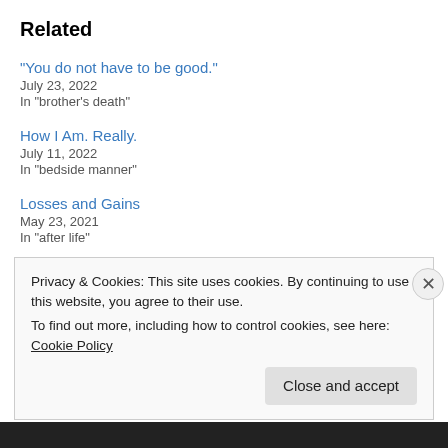Related
“You do not have to be good.”
July 23, 2022
In "brother's death"
How I Am. Really.
July 11, 2022
In "bedside manner"
Losses and Gains
May 23, 2021
In "after life"
Privacy & Cookies: This site uses cookies. By continuing to use this website, you agree to their use.
To find out more, including how to control cookies, see here: Cookie Policy